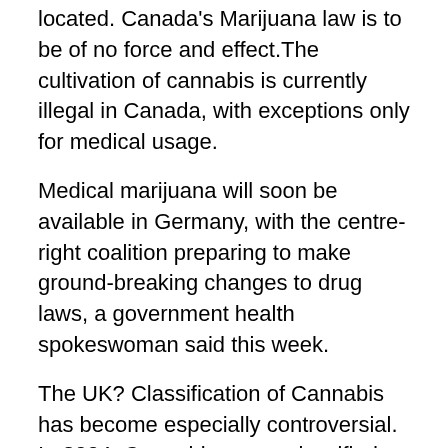located. Canada's Marijuana law is to be of no force and effect. The cultivation of cannabis is currently illegal in Canada, with exceptions only for medical usage.
Medical marijuana will soon be available in Germany, with the centre-right coalition preparing to make ground-breaking changes to drug laws, a government health spokeswoman said this week.
The UK? Classification of Cannabis has become especially controversial. In 2004, Cannabis was reclassified from class B to class C, in accordance with advice from the Advisory Council on the Misuse of Drugs (ACMD). In 2009, it was returned to class B against ACMD advice. Surely our drugs policy be based upon science and fact? Not historical prejudices and misconceptions.
Cannabis is illegal to possess and/or cultivate under the 1971 Misuse of drugs act. That is unless you get a license to grow it from the home office... After detailed research i could hardly find evidence of anyone ever receiving i